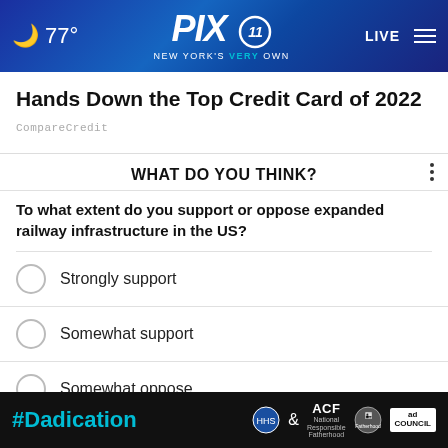77° PIX 11 NEW YORK'S VERY OWN | LIVE
Hands Down the Top Credit Card of 2022
CompareCredit
WHAT DO YOU THINK?
To what extent do you support or oppose expanded railway infrastructure in the US?
Strongly support
Somewhat support
Somewhat oppose
Strongly oppose
[Figure (screenshot): #Dadication ad banner with HHS, ACF, and Ad Council logos on dark background]